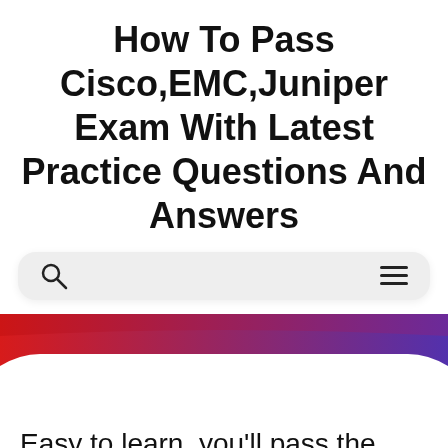How To Pass Cisco,EMC,Juniper Exam With Latest Practice Questions And Answers
[Figure (screenshot): Search bar with magnifying glass icon on the left and hamburger menu icon on the right, on a light gray rounded rectangle background]
[Figure (illustration): A red-to-purple gradient decorative banner strip, with two overlapping curved layers, transitioning from red on the left to dark purple on the right, with a white rounded card emerging from the bottom]
Easy to learn, you'll pass the Cisco Proctored Exams for Validating Knowledge 700-505 exam! Free 700-505 dumps